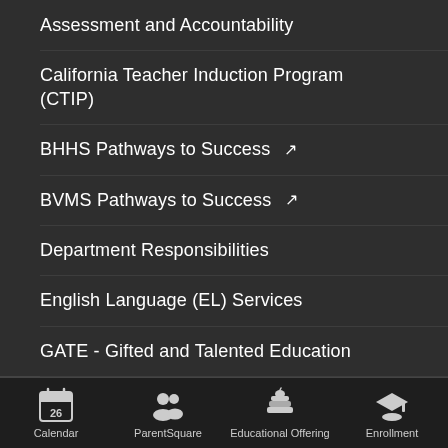Assessment and Accountability
California Teacher Induction Program (CTIP)
BHHS Pathways to Success ↗
BVMS Pathways to Success ↗
Department Responsibilities
English Language (EL) Services
GATE - Gifted and Talented Education
Local Control Accountability Plan (LCAP)
Calendar  ParentSquare  Educational Offering  Enrollment